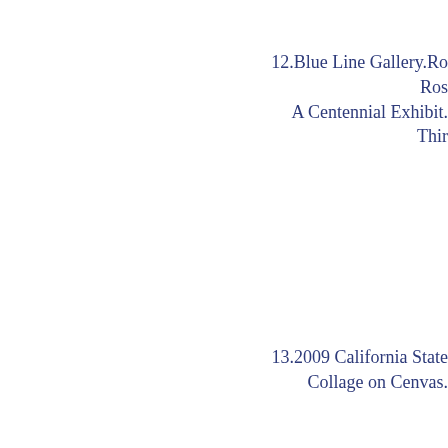12.Blue Line Gallery.Ro Ros A Centennial Exhibit. Third
13.2009 California State Collage on Cenvas.
14.Upstream People Contem Juried Online Interm .SPECIAL RECOGNITIO Collage o .SPECIAL RECOGNITION on C .SPECIAL RECOGNITION on C .SPECIAL RECOGNITION